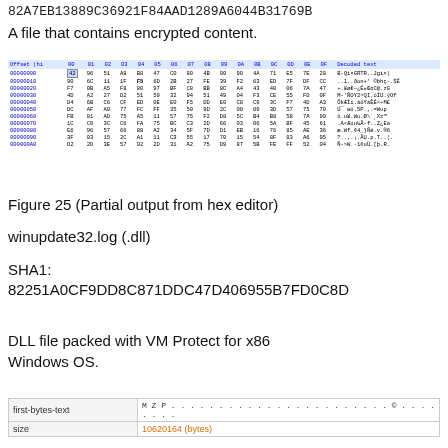82A7EB13889C36921F84AAD1289A6044B31769B
A file that contains encrypted content.
[Figure (screenshot): Hex editor output showing encrypted binary content with offset column, hex bytes columns, and decoded text column]
Figure 25 (Partial output from hex editor)
winupdate32.log (.dll)
SHA1: 82251A0CF9DD8C871DDC47D406955B7FD0C8D
DLL file packed with VM Protect for x86 Windows OS.
|  |  |
| --- | --- |
| first-bytes-text | M Z P . . . . . . . . . . . . . . . . . . . . . . . © . . . . . . . . |
| size | 10620164 (bytes) |